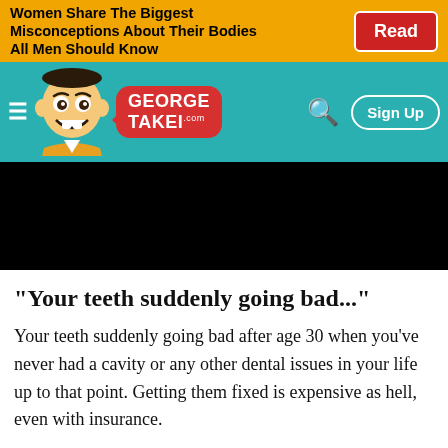[Figure (screenshot): Ad banner with text about women sharing misconceptions about their bodies, with a red Read button on a yellow/orange background]
[Figure (screenshot): George Takei .com website navigation bar with teal background, cartoon mascot, logo speech bubble, search icon, and Sign Up button]
[Figure (photo): Black rectangle representing a video or image placeholder]
"Your teeth suddenly going bad..."
Your teeth suddenly going bad after age 30 when you've never had a cavity or any other dental issues in your life up to that point. Getting them fixed is expensive as hell, even with insurance.